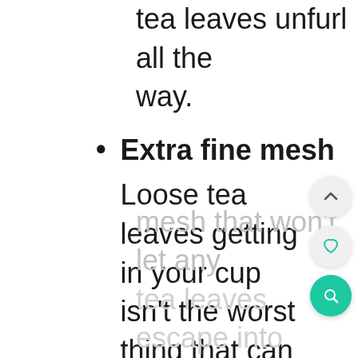tea leaves unfurl all the way.
Extra fine mesh
Loose tea leaves getting in your cup isn't the worst thing that can happen to your tea, but if it's a pet peeve of yours, look for infusers with extra fine mesh that won't let any tea leaves escape into